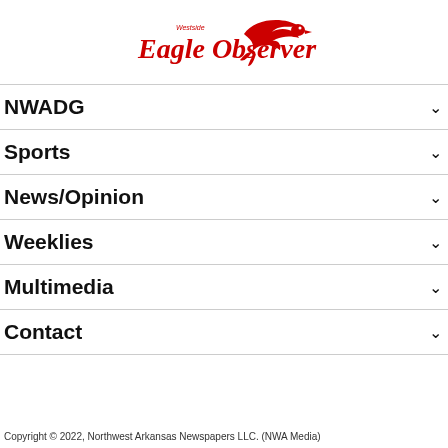[Figure (logo): Eagle Observer newspaper logo with red eagle and red text reading 'Eagle Observer' with small 'Westside' above]
NWADG
Sports
News/Opinion
Weeklies
Multimedia
Contact
Copyright © 2022, Northwest Arkansas Newspapers LLC. (NWA Media)